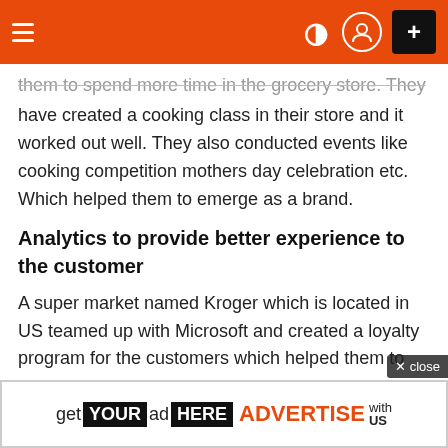≡ ) ⊙ +
them to spend more time in the grocery store. They have created a cooking class in their store and it worked out well. They also conducted events like cooking competition mothers day celebration etc. Which helped them to emerge as a brand.
Analytics to provide better experience to the customer
A super market named Kroger which is located in US teamed up with Microsoft and created a loyalty program for the customers which helped them to predict what the customer would want. In one of their
get YOUR ad HERE ADVERTISE with US